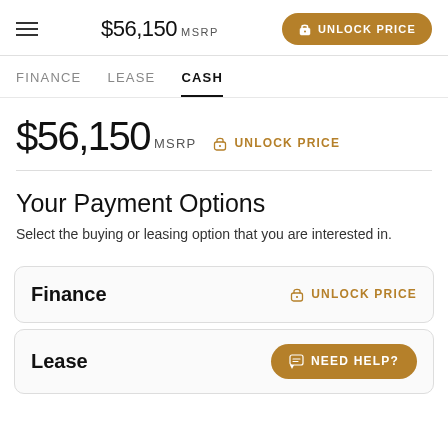$56,150 MSRP  UNLOCK PRICE
FINANCE   LEASE   CASH
$56,150 MSRP  UNLOCK PRICE
Your Payment Options
Select the buying or leasing option that you are interested in.
Finance  UNLOCK PRICE
Lease  NEED HELP?